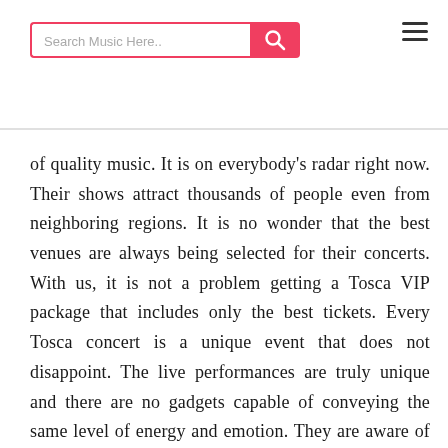Search Music Here..
of quality music. It is on everybody's radar right now. Their shows attract thousands of people even from neighboring regions. It is no wonder that the best venues are always being selected for their concerts. With us, it is not a problem getting a Tosca VIP package that includes only the best tickets. Every Tosca concert is a unique event that does not disappoint. The live performances are truly unique and there are no gadgets capable of conveying the same level of energy and emotion. They are aware of the fact that a mere computer screen won't be able to convey all the beauty of a live concert. You can check the details of every concert right here and decide whether that's exactly